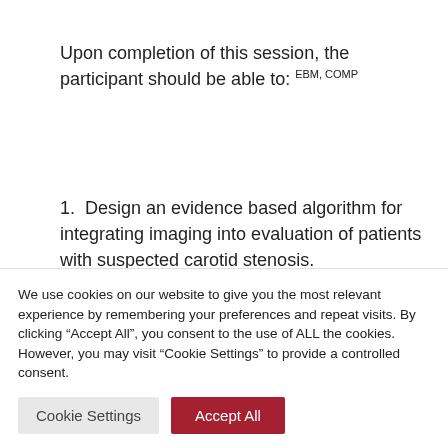Upon completion of this session, the participant should be able to: EBM, COMP
1. Design an evidence based algorithm for integrating imaging into evaluation of patients with suspected carotid stenosis.
2. Select appropriate tests to order for patients with suspected acute aortic
We use cookies on our website to give you the most relevant experience by remembering your preferences and repeat visits. By clicking "Accept All", you consent to the use of ALL the cookies. However, you may visit "Cookie Settings" to provide a controlled consent.